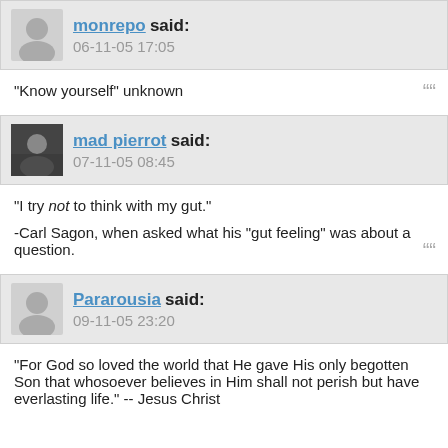monrepo said: 06-11-05 17:05
"Know yourself" unknown
mad pierrot said: 07-11-05 08:45
"I try not to think with my gut."

-Carl Sagon, when asked what his "gut feeling" was about a question.
Pararousia said: 09-11-05 23:20
"For God so loved the world that He gave His only begotten Son that whosoever believes in Him shall not perish but have everlasting life." -- Jesus Christ